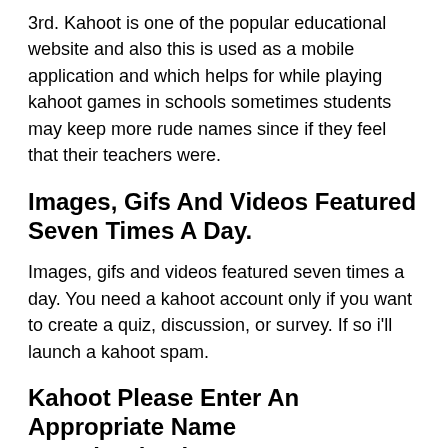3rd. Kahoot is one of the popular educational website and also this is used as a mobile application and which helps for while playing kahoot games in schools sometimes students may keep more rude names since if they feel that their teachers were.
Images, Gifs And Videos Featured Seven Times A Day.
Images, gifs and videos featured seven times a day. You need a kahoot account only if you want to create a quiz, discussion, or survey. If so i'll launch a kahoot spam.
Kahoot Please Enter An Appropriate Name Umach6Chuckwagon.
Educational tools like kahoot help make learning more interesting and. We deliver faster than amazon. Kahoot hack using bots to crash interactive classroom quizzes.